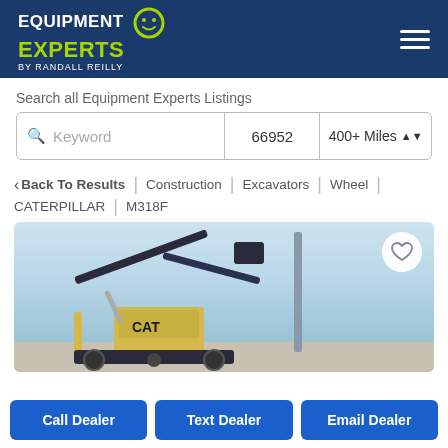[Figure (logo): Equipment Experts by Randall Reilly logo with hamburger menu on dark blue header background]
Search all Equipment Experts Listings
Keyword  |  66952  |  400+ Miles
< Back To Results | Construction | Excavators | Wheel | CATERPILLAR | M318F
[Figure (photo): Caterpillar M318F wheel excavator photo with heart/favorite button overlay]
Call Dealer  |  Text Dealer  |  Email Dealer